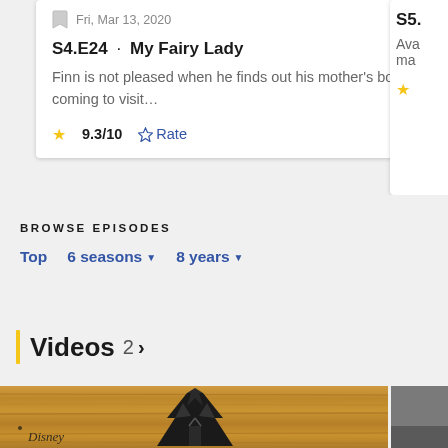Fri, Mar 13, 2020
S4.E24 · My Fairy Lady
Finn is not pleased when he finds out his mother's boyfriend, Dave, is coming to visit…
9.3/10  ☆Rate
S5.
BROWSE EPISODES
Top
6 seasons ▾
8 years ▾
Videos 2 >
[Figure (photo): Video thumbnail showing a wooden surface with a Disney logo and a stylized mountain/tree graphic in black]